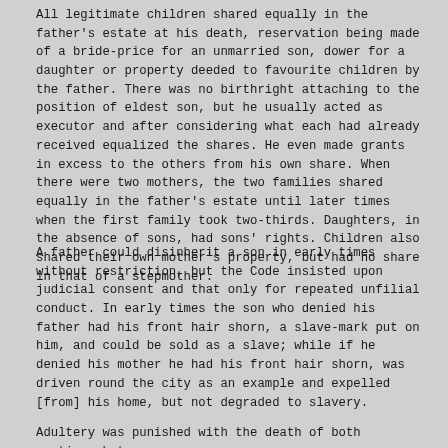All legitimate children shared equally in the father's estate at his death, reservation being made of a bride-price for an unmarried son, dower for a daughter or property deeded to favourite children by the father. There was no birthright attaching to the position of eldest son, but he usually acted as executor and after considering what each had already received equalized the shares. He even made grants in excess to the others from his own share. When there were two mothers, the two families shared equally in the father's estate until later times when the first family took two-thirds. Daughters, in the absence of sons, had sons' rights. Children also shared their own mother's property, but had no share in that of a stepmother.
A father could disinherit a son in early times without restriction, but the Code insisted upon judicial consent and that only for repeated unfilial conduct. In early times the son who denied his father had his front hair shorn, a slave-mark put on him, and could be sold as a slave; while if he denied his mother he had his front hair shorn, was driven round the city as an example and expelled [from] his home, but not degraded to slavery.
Adultery was punished with the death of both parties, but a...